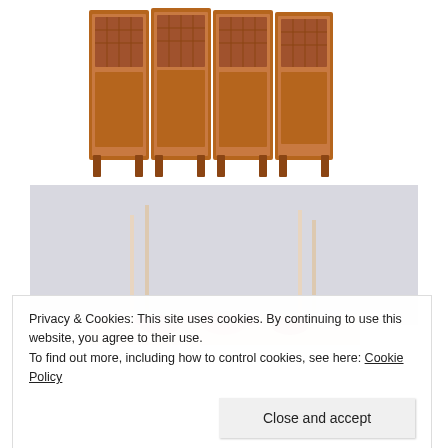[Figure (photo): A brown carved wooden room divider/folding screen with decorative lattice panels, photographed on a white background.]
[Figure (photo): A styled table scene with tall thin candles and floral decorations on a light grey background, partially visible.]
Privacy & Cookies: This site uses cookies. By continuing to use this website, you agree to their use.
To find out more, including how to control cookies, see here: Cookie Policy
Close and accept